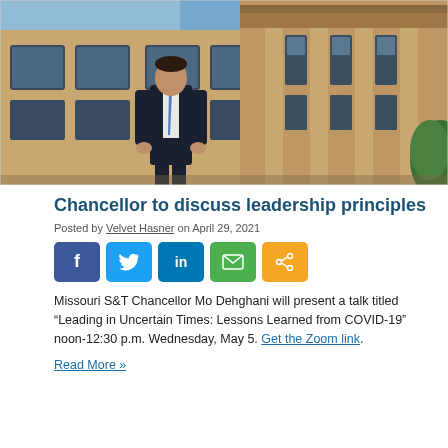[Figure (photo): Chancellor Mo Dehghani standing in front of a historic brick university building, wearing a dark suit and blue tie, looking upward. The building has arched windows and ornate stone facade.]
Chancellor to discuss leadership principles
Posted by Velvet Hasner on April 29, 2021
[Figure (infographic): Social media sharing buttons: Facebook (blue), Twitter (light blue), LinkedIn (dark blue), Email (green), Share (orange)]
Missouri S&T Chancellor Mo Dehghani will present a talk titled “Leading in Uncertain Times: Lessons Learned from COVID-19” noon-12:30 p.m. Wednesday, May 5. Get the Zoom link.
Read More »